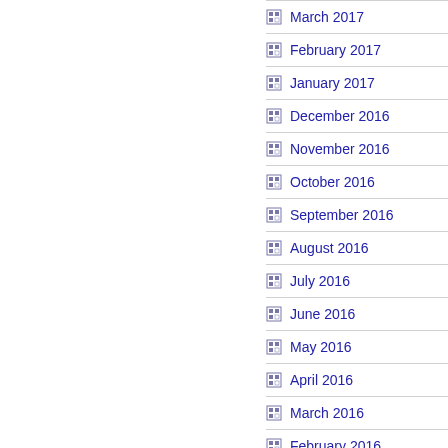March 2017
February 2017
January 2017
December 2016
November 2016
October 2016
September 2016
August 2016
July 2016
June 2016
May 2016
April 2016
March 2016
February 2016